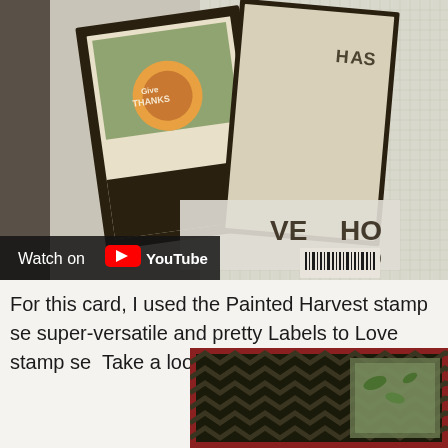[Figure (screenshot): YouTube video thumbnail showing handmade greeting cards with a 'Give Thanks' card featuring floral/botanical design with chevron border pattern, stamp sets visible. YouTube play button overlay in top right. 'Watch on YouTube' bar at bottom left.]
For this card, I used the Painted Harvest stamp se super-versatile and pretty Labels to Love stamp se Take a look-see:
[Figure (photo): Partial photo of a handmade card showing chevron/zigzag dark patterned border and green botanical/leaf design elements, partially cropped at bottom of page.]